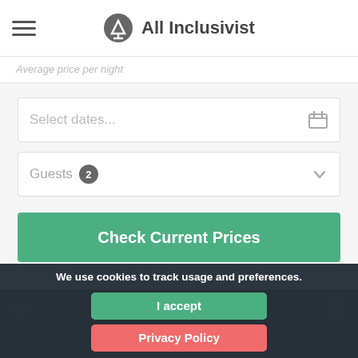All Inclusivist
Average price per night
Select dates...
Guests 2
Check Current Prices
We use cookies to track usage and preferences.
I accept
Privacy Policy
All Inclusivist is the best place to find deals for your next all-inclusive vacation! We have tools to find the